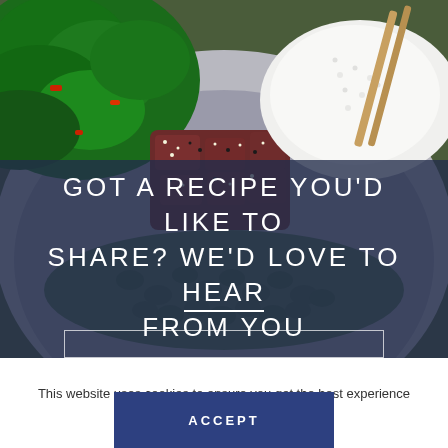[Figure (photo): Top-down view of an Asian food bowl with kale, tuna poke, edamame, rice and chopsticks]
GOT A RECIPE YOU'D LIKE TO SHARE? WE'D LOVE TO HEAR FROM YOU
This website uses cookies to ensure you get the best experience on our website. More information
ACCEPT